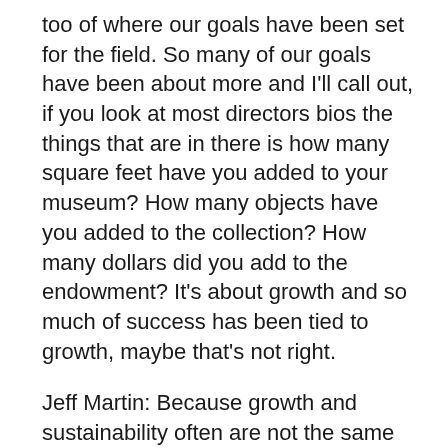too of where our goals have been set for the field. So many of our goals have been about more and I'll call out, if you look at most directors bios the things that are in there is how many square feet have you added to your museum? How many objects have you added to the collection? How many dollars did you add to the endowment? It's about growth and so much of success has been tied to growth, maybe that's not right.
Jeff Martin: Because growth and sustainability often are not the same thing.
Speaker 1: They're counter. And we know there's a lot of whether it's a foundation, an individual donor, or the ego of people that might be in charge, is that what's the biggest way of showing